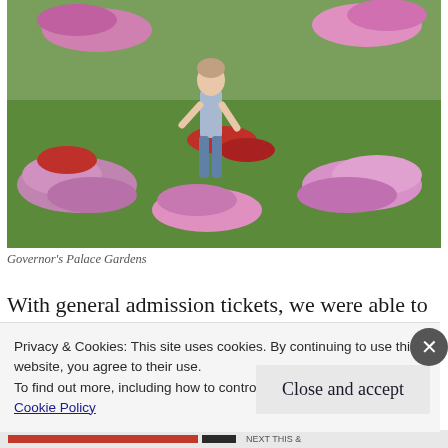[Figure (photo): A person standing in a formal garden with colorful flower beds arranged in ornate patterns on green grass. Pink, red, and purple flowers are visible. The setting is the Governor's Palace Gardens.]
Governor’s Palace Gardens
With general admission tickets, we were able to tour the Governor’s Palace and Gardens, and pretty much any of the other homes and most areas that were open while we were there.  For example, the Governor’s Palace was only open...
Privacy & Cookies: This site uses cookies. By continuing to use this website, you agree to their use.
To find out more, including how to control cookies, see here:
Cookie Policy
Close and accept